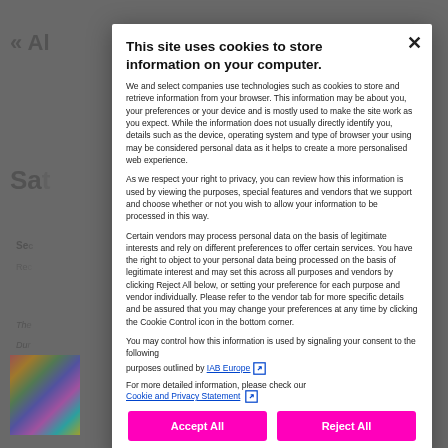This site uses cookies to store information on your computer.
We and select companies use technologies such as cookies to store and retrieve information from your browser. This information may be about you, your preferences or your device and is mostly used to make the site work as you expect. While the information does not usually directly identify you, details such as the device, operating system and type of browser your using may be considered personal data as it helps to create a more personalised web experience.
As we respect your right to privacy, you can review how this information is used by viewing the purposes, special features and vendors that we support and choose whether or not you wish to allow your information to be processed in this way.
Certain vendors may process personal data on the basis of legitimate interests and rely on different preferences to offer certain services. You have the right to object to your personal data being processed on the basis of legitimate interest and may set this across all purposes and vendors by clicking Reject All below, or setting your preference for each purpose and vendor individually. Please refer to the vendor tab for more specific details and be assured that you may change your preferences at any time by clicking the Cookie Control icon in the bottom corner.
You may control how this information is used by signaling your consent to the following purposes outlined by IAB Europe
For more detailed information, please check our Cookie and Privacy Statement